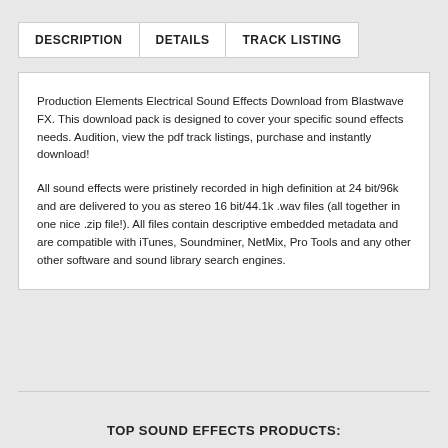DESCRIPTION
DETAILS
TRACK LISTING
Production Elements Electrical Sound Effects Download from Blastwave FX. This download pack is designed to cover your specific sound effects needs. Audition, view the pdf track listings, purchase and instantly download!
All sound effects were pristinely recorded in high definition at 24 bit/96k and are delivered to you as stereo 16 bit/44.1k .wav files (all together in one nice .zip file!). All files contain descriptive embedded metadata and are compatible with iTunes, Soundminer, NetMix, Pro Tools and any other other software and sound library search engines.
TOP SOUND EFFECTS PRODUCTS: